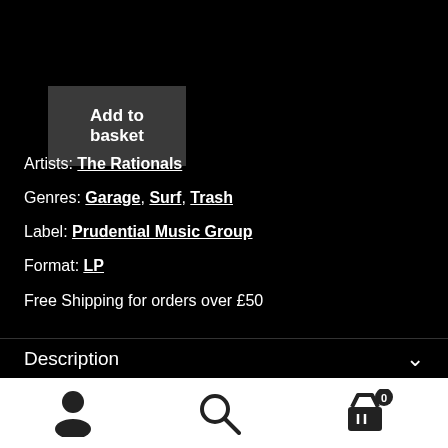Add to basket
Artists: The Rationals
Genres: Garage, Surf, Trash
Label: Prudential Music Group
Format: LP
Free Shipping for orders over £50
Description